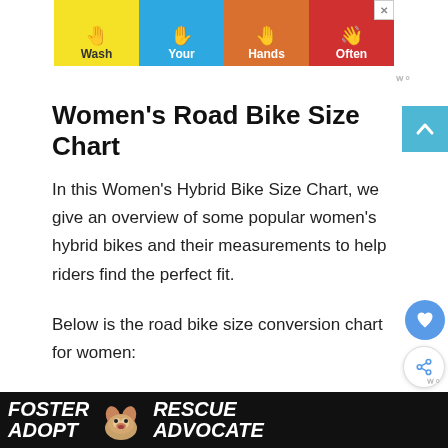[Figure (illustration): Top advertisement banner showing 'Wash Your Hands Often' with four colored panels (yellow, blue, orange, red), each with a hand-washing illustration and one word of the message. A close button is in the top-right corner.]
Women’s Road Bike Size Chart
In this Women’s Hybrid Bike Size Chart, we give an overview of some popular women’s hybrid bikes and their measurements to help riders find the perfect fit.
Below is the road bike size conversion chart for women:
[Figure (illustration): Bottom advertisement banner with dark background showing 'FOSTER ADOPT' on the left, a beagle dog photo in the center, and 'RESCUE ADVOCATE' on the right in white bold italic text. A close button is visible.]